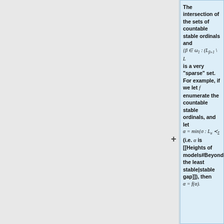The intersection of the sets of countable stable ordinals and {β ∈ ω₁ : (L_{β+1} \ L is a very "sparse" set. For example, if we let f enumerate the countable stable ordinals, and let α = min{σ : L_σ ≺_Σ (i.e. α is [[Heights of models#Beyond the least stable|stable gap]]), then α = f(α).